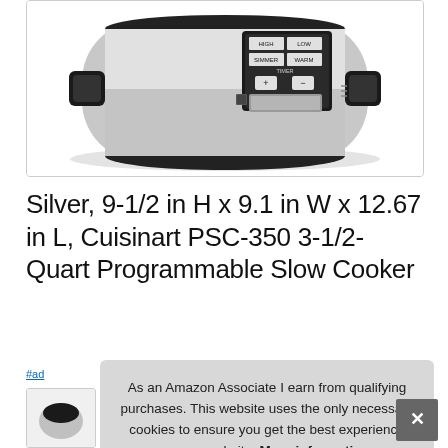[Figure (photo): Cuisinart PSC-350 programmable slow cooker, stainless steel body with black trim, showing control panel with HIGH, LOW, SIMMER, WARM and TIMER buttons, plus + and - controls and a digital display window]
Silver, 9-1/2 in H x 9.1 in W x 12.67 in L, Cuisinart PSC-350 3-1/2-Quart Programmable Slow Cooker
#ad
As an Amazon Associate I earn from qualifying purchases. This website uses the only necessary cookies to ensure you get the best experience on our website. More information